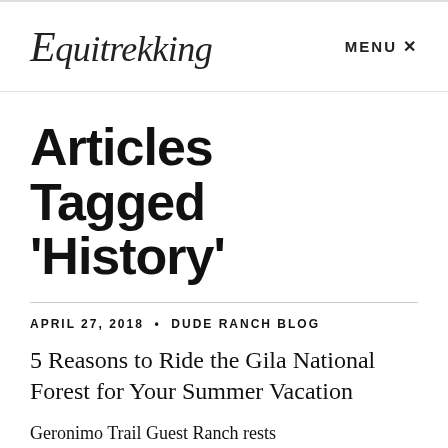Equitrekking   MENU ×
Articles Tagged 'History'
APRIL 27, 2018 • DUDE RANCH BLOG
5 Reasons to Ride the Gila National Forest for Your Summer Vacation
Geronimo Trail Guest Ranch rests